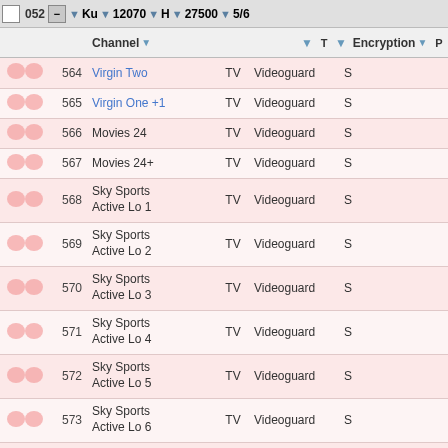|  | Num | Channel | T | Encryption | P |
| --- | --- | --- | --- | --- | --- |
|  | 564 | Virgin Two | TV | Videoguard | S |
|  | 565 | Virgin One +1 | TV | Videoguard | S |
|  | 566 | Movies 24 | TV | Videoguard | S |
|  | 567 | Movies 24+ | TV | Videoguard | S |
|  | 568 | Sky Sports Active Lo 1 | TV | Videoguard | S |
|  | 569 | Sky Sports Active Lo 2 | TV | Videoguard | S |
|  | 570 | Sky Sports Active Lo 3 | TV | Videoguard | S |
|  | 571 | Sky Sports Active Lo 4 | TV | Videoguard | S |
|  | 572 | Sky Sports Active Lo 5 | TV | Videoguard | S |
|  | 573 | Sky Sports Active Lo 6 | TV | Videoguard | S |
|  | 574 | Sky Sports Active Lo 9 | TV | Videoguard | S |
|  | 575 | Sky Sports Active Lo 8 | TV | Videoguard | S |
|  | 576 | Girl Next Door | TV | Videoguard | S |
|  | 577 | ElectricBLUE | TV | Videoguard | S |
|  | 578 | Viewers Wives | TV | Videoguard | S |
|  | 579 | Sky Comedy | TV | Videoguard | S |